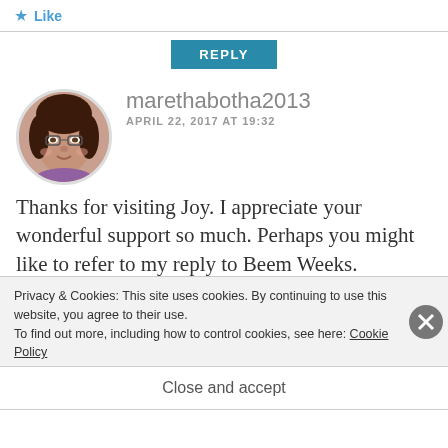Like
REPLY
[Figure (photo): Circular profile photo of marethabotha2013, a woman with glasses and dark hair]
marethabotha2013
APRIL 22, 2017 AT 19:32
Thanks for visiting Joy. I appreciate your wonderful support so much. Perhaps you might like to refer to my reply to Beem Weeks. Especially the second section of
Privacy & Cookies: This site uses cookies. By continuing to use this website, you agree to their use.
To find out more, including how to control cookies, see here: Cookie Policy
Close and accept